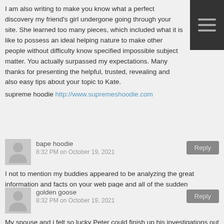I am also writing to make you know what a perfect discovery my friend's girl undergone going through your site. She learned too many pieces, which included what it is like to possess an ideal helping nature to make other people without difficulty know specified impossible subject matter. You actually surpassed my expectations. Many thanks for presenting the helpful, trusted, revealing and also easy tips about your topic to Kate.
supreme hoodie http://www.supremeshoodie.com
bape hoodie
8:32 PM on October 19, 2021
I not to mention my buddies appeared to be analyzing the great information and facts on your web page and all of the sudden developed a terrible suspicion I never thanked you for those strategies. Most of the boys happened to be as a consequence stimulated to read all of them and have very much been loving them. Many thanks for genuinely well considerate as well as for deciding upon certain magnificent ideas most people are really desirous to understand about. My honest regret for not saying thanks to you earlier.
bape hoodie http://www.bapesonline.com
golden goose
8:32 PM on October 19, 2021
My spouse and i felt so lucky Peter could finish up his investigations out of the precious recommendations he discovered from your own web page. It is